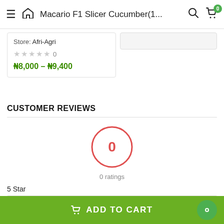Macario F1 Slicer Cucumber(1...
Store: Afri-Agri
★ ★ ★ ★ ★ 0
₦8,000 – ₦9,400
CUSTOMER REVIEWS
[Figure (other): A circular rating indicator outlined in red showing '0' in the center with '0 ratings' below]
5 Star
0%
ADD TO CART